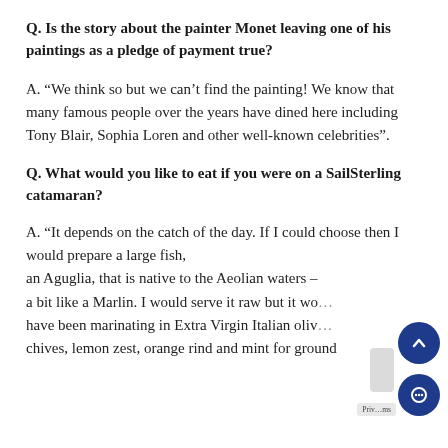Q. Is the story about the painter Monet leaving one of his paintings as a pledge of payment true?
A. “We think so but we can’t find the painting! We know that many famous people over the years have dined here including Tony Blair, Sophia Loren and other well-known celebrities”.
Q. What would you like to eat if you were on a SailSterling catamaran?
A. “It depends on the catch of the day. If I could choose then I would prepare a large fish, an Aguglia, that is native to the Aeolian waters – a bit like a Marlin. I would serve it raw but it wo… have been marinating in Extra Virgin Italian oliv… chives, lemon zest, orange rind and mint for ground…